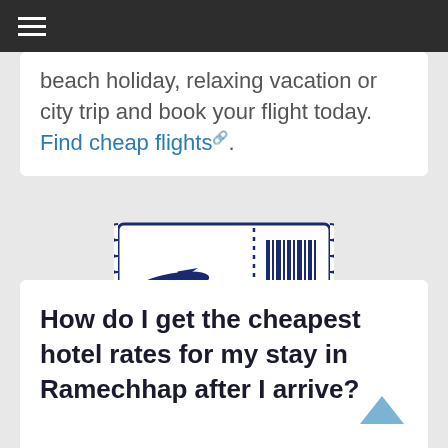≡
beach holiday, relaxing vacation or city trip and book your flight today. Find cheap flights.
[Figure (illustration): Airline ticket icon with airplane silhouette on the left side and barcode on the right side, outlined in dark navy blue]
How do I get the cheapest hotel rates for my stay in Ramechhap after I arrive?